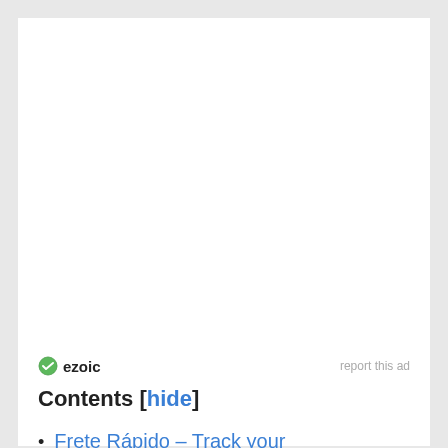[Figure (other): Blank white advertisement area]
ezoic   report this ad
Contents [hide]
Frete Rápido – Track your